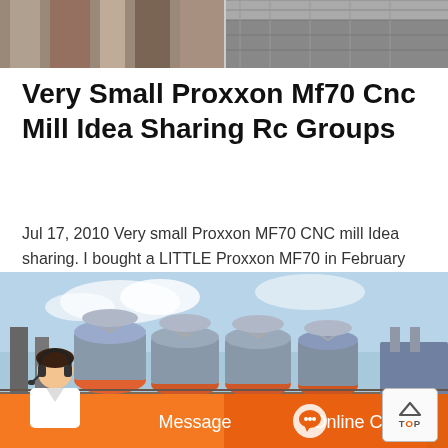[Figure (photo): Top banner photo showing industrial or construction scene, split into two sections]
Very Small Proxxon Mf70 Cnc Mill Idea Sharing Rc Groups
Jul 17, 2010 Very small Proxxon MF70 CNC mill Idea sharing. I bought a LITTLE Proxxon MF70 in February 2009 and converted it to CNC very easily within about 2 weeks of owning it. So in the past 18 months I have been making and selling parts I have made on the machine. It has been very good to me as a learning tool. It has made a little money.
[Figure (photo): Industrial machinery photo showing large equipment with cooling towers or industrial fans against a blue sky, with orange chat bar overlay at bottom]
[Figure (other): Chat bar with person image, Message button, and Online Chat button in orange]